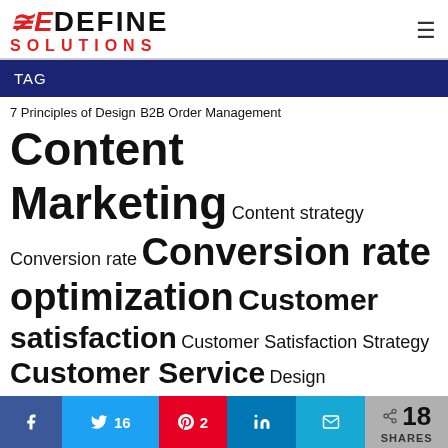REDEFINE SOLUTIONS
TAG
7 Principles of Design B2B Order Management Content Marketing Content strategy Conversion rate Conversion rate optimization Customer satisfaction Customer Satisfaction Strategy Customer Service Design Digital Marketing E-commerce Optimization E-commerce Tips eCommerce eCommerce website design tips Email Marketing Hire Magento developers Increase ROI Inventory Forecasting Inventory Management Inventory Management System Magento Development service
Facebook Twitter 16 Pinterest 2 LinkedIn Email Share 18 SHARES